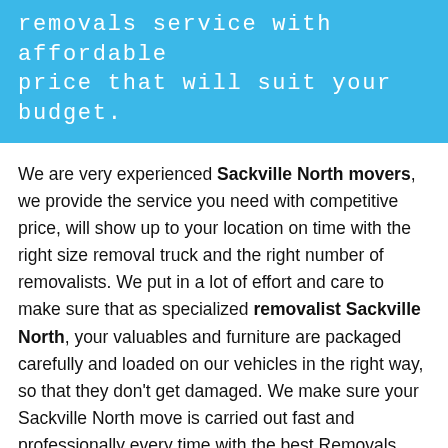removals service with affordable price that will suit your budget.
We are very experienced Sackville North movers, we provide the service you need with competitive price, will show up to your location on time with the right size removal truck and the right number of removalists. We put in a lot of effort and care to make sure that as specialized removalist Sackville North, your valuables and furniture are packaged carefully and loaded on our vehicles in the right way, so that they don't get damaged. We make sure your Sackville North move is carried out fast and professionally every time with the best Removals service.